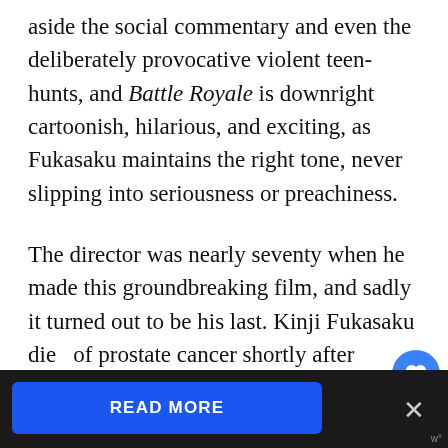aside the social commentary and even the deliberately provocative violent teen-hunts, and Battle Royale is downright cartoonish, hilarious, and exciting, as Fukasaku maintains the right tone, never slipping into seriousness or preachiness.
The director was nearly seventy when he made this groundbreaking film, and sadly it turned out to be his last. Kinji Fukasaku died of prostate cancer shortly after starting work on the sequel, shooting only one scene with Takeshi Kitano. His son, Kenta Fukasaku, went on to ... 2003 and...
READ MORE